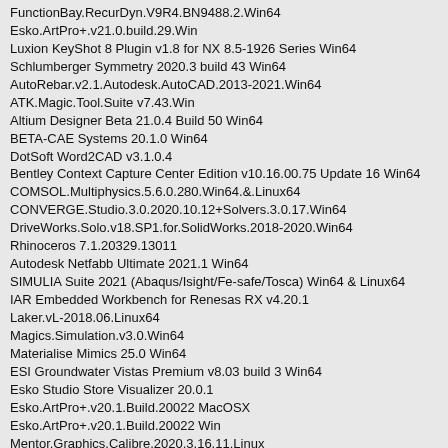FunctionBay.RecurDyn.V9R4.BN9488.2.Win64
Esko.ArtPro+.v21.0.build.29.Win
Luxion KeyShot 8 Plugin v1.8 for NX 8.5-1926 Series Win64
Schlumberger Symmetry 2020.3 build 43 Win64
AutoRebar.v2.1.Autodesk.AutoCAD.2013-2021.Win64
ATK.Magic.Tool.Suite v7.43.Win
Altium Designer Beta 21.0.4 Build 50 Win64
BETA-CAE Systems 20.1.0 Win64
DotSoft Word2CAD v3.1.0.4
Bentley Context Capture Center Edition v10.16.00.75 Update 16 Win64
COMSOL.Multiphysics.5.6.0.280.Win64.&.Linux64
CONVERGE.Studio.3.0.2020.10.12+Solvers.3.0.17.Win64
DriveWorks.Solo.v18.SP1.for.SolidWorks.2018-2020.Win64
Rhinoceros 7.1.20329.13011
Autodesk Netfabb Ultimate 2021.1 Win64
SIMULIA Suite 2021 (Abaqus/Isight/Fe-safe/Tosca) Win64 & Linux64
IAR Embedded Workbench for Renesas RX v4.20.1
Laker.vL-2018.06.Linux64
Magics.Simulation.v3.0.Win64
Materialise Mimics 25.0 Win64
ESI Groundwater Vistas Premium v8.03 build 3 Win64
Esko Studio Store Visualizer 20.0.1
Esko.ArtPro+.v20.1.Build.20022 MacOSX
Esko.ArtPro+.v20.1.Build.20022 Win
Mentor.Graphics.Calibre.2020.3.16.11.Linux
Adobe.Photoshop.2021.v22.0.1.73.CameraRaw.v13.0.2
IrriExpress v3.3.0.0
Leica Infinity v3.6